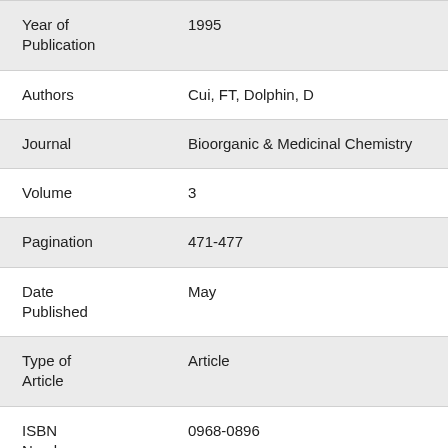| Field | Value |
| --- | --- |
| Year of Publication | 1995 |
| Authors | Cui, FT, Dolphin, D |
| Journal | Bioorganic & Medicinal Chemistry |
| Volume | 3 |
| Pagination | 471-477 |
| Date Published | May |
| Type of Article | Article |
| ISBN Number | 0968-0896 |